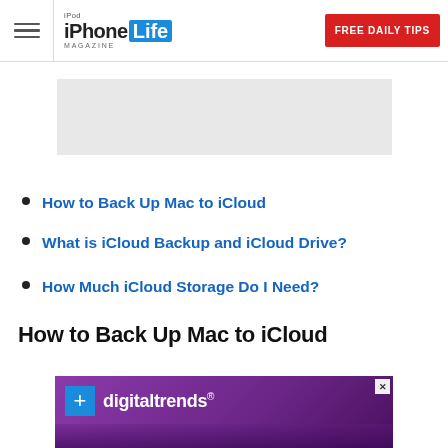iPhone Life Magazine | FREE DAILY TIPS
[Figure (other): Advertisement banner placeholder (gray rectangle)]
How to Back Up Mac to iCloud
What is iCloud Backup and iCloud Drive?
How Much iCloud Storage Do I Need?
How to Back Up Mac to iCloud
[Figure (screenshot): Digital Trends advertisement banner with purple background showing hands on keyboard]